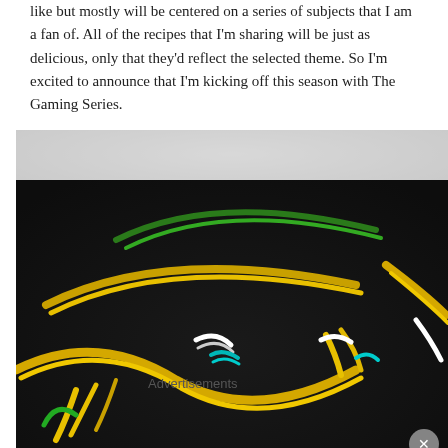like but mostly will be centered on a series of subjects that I am a fan of. All of the recipes that I'm sharing will be just as delicious, only that they'd reflect the selected theme. So I'm excited to announce that I'm kicking off this season with The Gaming Series.
[Figure (photo): Close-up photo of a dark chocolate cake decorated with colorful icing designs resembling a gaming logo — green, yellow, white, and teal swooping lines on a near-black frosted surface.]
Advertisements